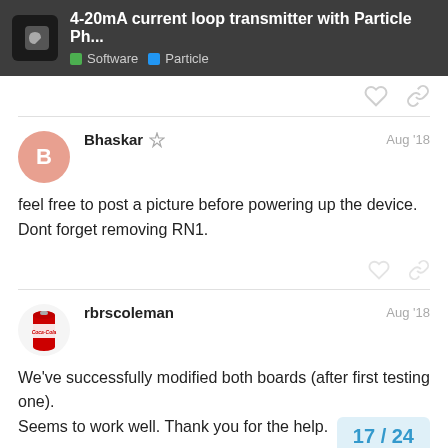4-20mA current loop transmitter with Particle Ph... | Software | Particle
Bhaskar  Aug '18
feel free to post a picture before powering up the device.
Dont forget removing RN1.
rbrscoleman  Aug '18
We've successfully modified both boards (after first testing one). Seems to work well. Thank you for the help.
If we need to order more, by when can we this unit will ship with a fix for this issue in
17 / 24